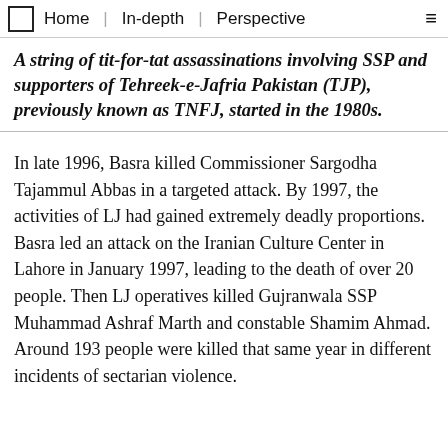Home | In-depth | Perspective
A string of tit-for-tat assassinations involving SSP and supporters of Tehreek-e-Jafria Pakistan (TJP), previously known as TNFJ, started in the 1980s.
In late 1996, Basra killed Commissioner Sargodha Tajammul Abbas in a targeted attack. By 1997, the activities of LJ had gained extremely deadly proportions. Basra led an attack on the Iranian Culture Center in Lahore in January 1997, leading to the death of over 20 people. Then LJ operatives killed Gujranwala SSP Muhammad Ashraf Marth and constable Shamim Ahmad. Around 193 people were killed that same year in different incidents of sectarian violence.